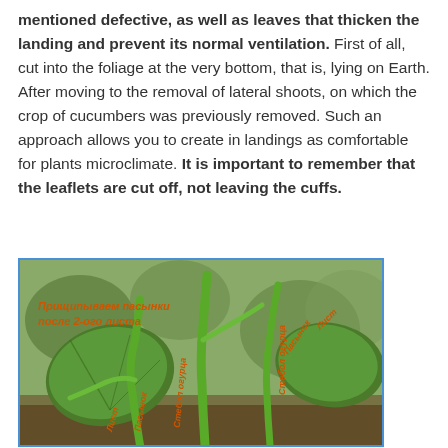mentioned defective, as well as leaves that thicken the landing and prevent its normal ventilation. First of all, cut into the foliage at the very bottom, that is, lying on Earth. After moving to the removal of lateral shoots, on which the crop of cucumbers was previously removed. Such an approach allows you to create in landings as comfortable for plants microclimate. It is important to remember that the leaflets are cut off, not leaving the cuffs.
[Figure (photo): Photograph of cucumber plant stems and leaves with Russian text annotations identifying plant parts: Прищипываем пасынки после 2-ого листа (Pinch off side shoots after the 2nd leaf), Стебол огурца (cucumber stem), Пасынок (side shoot), Лист (leaf). Labels appear on multiple stems shown in the image.]